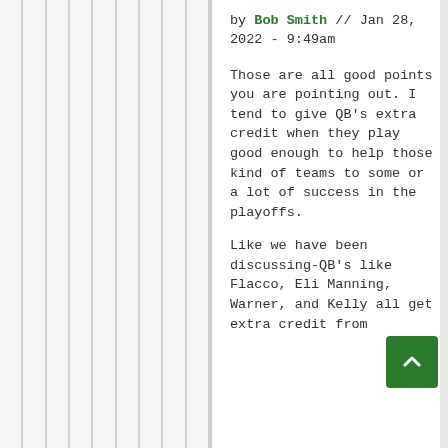by Bob Smith // Jan 28, 2022 - 9:49am
Those are all good points you are pointing out. I tend to give QB's extra credit when they play good enough to help those kind of teams to some or a lot of success in the playoffs.
Like we have been discussing-QB's like Flacco, Eli Manning, Warner, and Kelly all get extra credit from